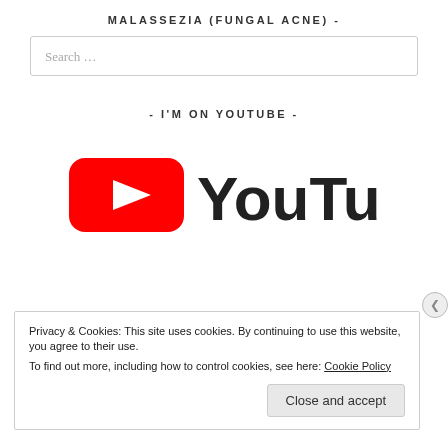MALASSEZIA (FUNGAL ACNE) -
Search …
- I'M ON YOUTUBE -
[Figure (logo): YouTube logo: red rounded rectangle with white play triangle, followed by 'YouTube' in black bold text]
Privacy & Cookies: This site uses cookies. By continuing to use this website, you agree to their use.
To find out more, including how to control cookies, see here: Cookie Policy
Close and accept